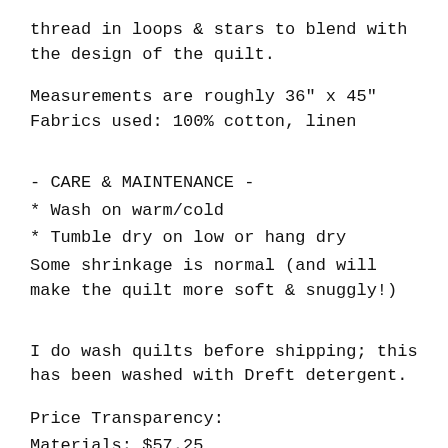thread in loops & stars to blend with the design of the quilt.
Measurements are roughly 36" x 45"
Fabrics used: 100% cotton, linen
- CARE & MAINTENANCE -
* Wash on warm/cold
* Tumble dry on low or hang dry
Some shrinkage is normal (and will make the quilt more soft & snuggly!)
I do wash quilts before shipping; this has been washed with Dreft detergent.
Price Transparency:
Materials: $57.25